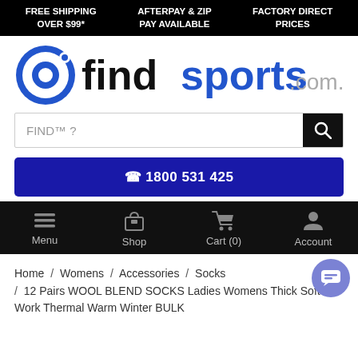FREE SHIPPING OVER $99* | AFTERPAY & ZIP PAY AVAILABLE | FACTORY DIRECT PRICES
[Figure (logo): FindSports.com.au logo with circular icon on the left, 'find' in black bold text, 'sports' in blue bold text, '.com.au' in gray text]
FIND™ ? (search box)
📞 1800 531 425
Menu | Shop | Cart (0) | Account (navigation bar)
Home / Womens / Accessories / Socks / 12 Pairs WOOL BLEND SOCKS Ladies Womens Thick Soft Work Thermal Warm Winter BULK